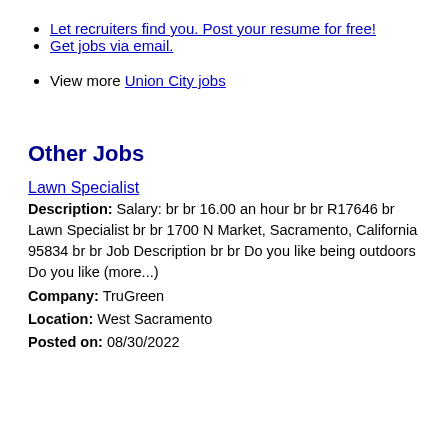Let recruiters find you. Post your resume for free!
Get jobs via email.
View more Union City jobs
Other Jobs
Lawn Specialist
Description: Salary: br br 16.00 an hour br br R17646 br Lawn Specialist br br 1700 N Market, Sacramento, California 95834 br br Job Description br br Do you like being outdoors Do you like (more...)
Company: TruGreen
Location: West Sacramento
Posted on: 08/30/2022